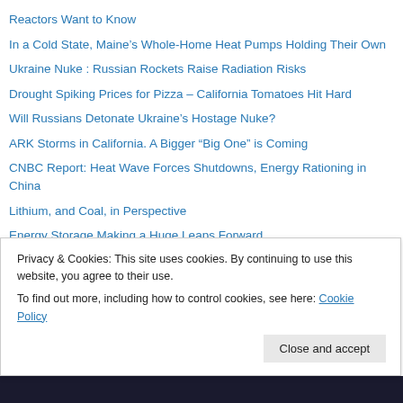Reactors Want to Know
In a Cold State, Maine’s Whole-Home Heat Pumps Holding Their Own
Ukraine Nuke : Russian Rockets Raise Radiation Risks
Drought Spiking Prices for Pizza – California Tomatoes Hit Hard
Will Russians Detonate Ukraine’s Hostage Nuke?
ARK Storms in California. A Bigger “Big One” is Coming
CNBC Report: Heat Wave Forces Shutdowns, Energy Rationing in China
Lithium, and Coal, in Perspective
Energy Storage Making a Huge Leaps Forward
As French Rivers Dry, Nukes Still Need Cooling Water
Food Price Rise Tied to Climate, Energy
Ukraine’s Giant Nuclear Plant Crisis Still “Grave”
Privacy & Cookies: This site uses cookies. By continuing to use this website, you agree to their use.
To find out more, including how to control cookies, see here: Cookie Policy
Close and accept